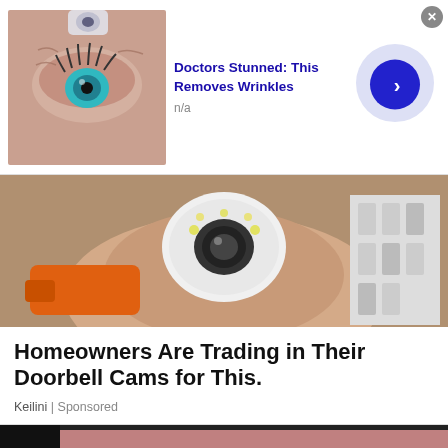[Figure (screenshot): Advertisement banner: eye/wrinkle cream ad with thumbnail of elderly woman's eye, blue arrow button on lavender circle, close button]
Doctors Stunned: This Removes Wrinkles
n/a
[Figure (photo): Hand holding a white security camera with orange power drill and circuit breakers in background]
Homeowners Are Trading in Their Doorbell Cams for This.
Keilini | Sponsored
[Figure (photo): Close-up macro photo of bearded man's chin/face skin]
[Figure (screenshot): Advertisement banner: same wrinkle cream ad with thumbnail of elderly woman's eye, blue arrow button on lavender circle, close button]